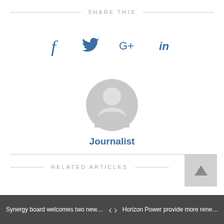SHARE THIS
[Figure (illustration): Social media share icons: Facebook (f), Twitter (bird), Google+ (G+), LinkedIn (in) in blue]
[Figure (illustration): Grey circular avatar/profile placeholder icon]
Journalist
RELATED ARTICLES
Synergy board welcomes two new memb...
Horizon Power provide more renewable ...